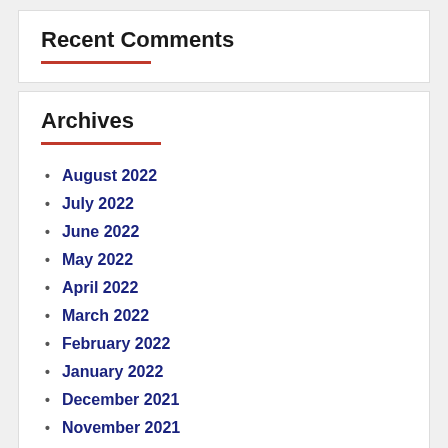Recent Comments
Archives
August 2022
July 2022
June 2022
May 2022
April 2022
March 2022
February 2022
January 2022
December 2021
November 2021
October 2021
September 2021
August 2021